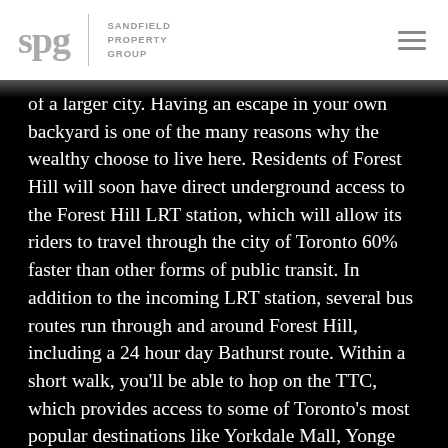spg | SANDFIELD PROPERTY GROUP
of a larger city. Having an escape in your own backyard is one of the many reasons why the wealthy choose to live here. Residents of Forest Hill will soon have direct underground access to the Forest Hill LRT station, which will allow its riders to travel through the city of Toronto 60% faster than other forms of public transit. In addition to the incoming LRT station, several bus routes run through and around Forest Hill, including a 24 hour day Bathurst route. Within a short walk, you'll be able to hop on the TTC, which provides access to some of Toronto's most popular destinations like Yorkdale Mall, Yonge and Eglinton, Yorkville, the ROM, Union Station, and the University of Toronto. For those commuters with vehicles, Forest Hill provides the highest convenience